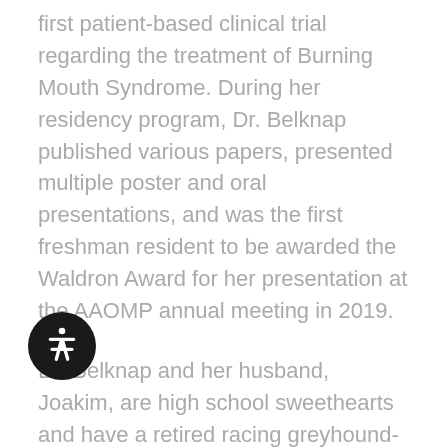first patient-based clinical trial regarding the treatment of Burning Mouth Syndrome. During her residency program, Dr. Belknap published various papers, presented multiple poster and oral presentations, and was the first freshman resident to be awarded the Waldron Award for her presentation at the AAOMP annual meeting in 2019.
Dr. Belknap and her husband, Joakim, are high school sweethearts and have a retired racing greyhound-Easy. Dr. Belknap is also a foster mother for retired racing greyhounds and has been active in the adoption process throughout the state of Florida. She and her family are also active in butterfly...